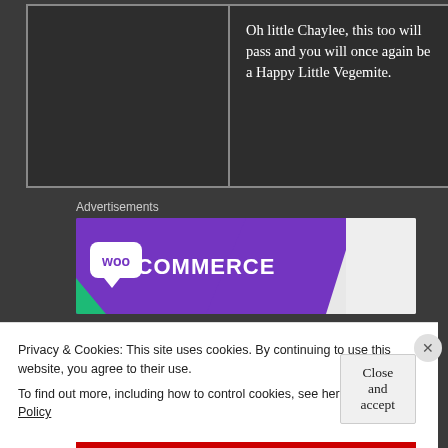Oh little Chaylee, this too will pass and you will once again be a Happy Little Vegemite.
Advertisements
[Figure (logo): WooCommerce logo on purple gradient background advertisement banner]
Privacy & Cookies: This site uses cookies. By continuing to use this website, you agree to their use.
To find out more, including how to control cookies, see here: Cookie Policy
Close and accept